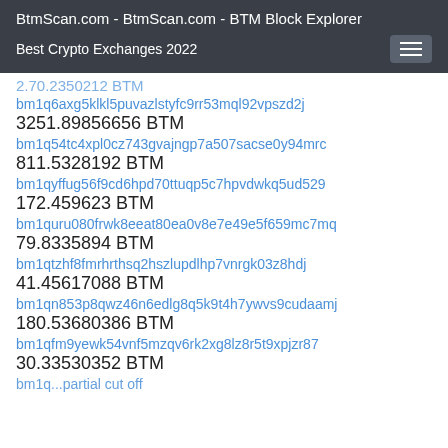BtmScan.com - BtmScan.com - BTM Block Explorer
Best Crypto Exchanges 2022
2.70.2350212 BTM (partial, cut off at top)
bm1q6axg5klkl5puvazlstyfc9rr53mql92vpszd2j
3251.89856656 BTM
bm1q54tc4xpl0cz743gvajngp7a507sacse0y94mrc
811.5328192 BTM
bm1qyffug56f9cd6hpd70ttuqp5c7hpvdwkq5ud529
172.459623 BTM
bm1quru080frwk8eeat80ea0v8e7e49e5f659mc7mq
79.8335894 BTM
bm1qtzhf8fmrhrthsq2hszlupdlhp7vnrgk03z8hdj
41.45617088 BTM
bm1qn853p8qwz46n6edlg8q5k9t4h7ywvs9cudaamj
180.53680386 BTM
bm1qfm9yewk54vnf5mzqv6rk2xg8lz8r5t9xpjzr87
30.33530352 BTM